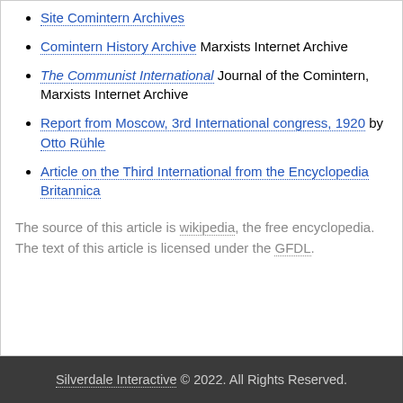Site Comintern Archives
Comintern History Archive Marxists Internet Archive
The Communist International Journal of the Comintern, Marxists Internet Archive
Report from Moscow, 3rd International congress, 1920 by Otto Rühle
Article on the Third International from the Encyclopedia Britannica
The source of this article is wikipedia, the free encyclopedia.  The text of this article is licensed under the GFDL.
Silverdale Interactive © 2022. All Rights Reserved.